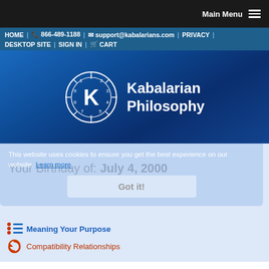Main Menu
HOME | 866-489-1188 | support@kabalarians.com | PRIVACY | DESKTOP SITE | SIGN IN | CART
[Figure (logo): Kabalarian Philosophy logo with circular numerology wheel containing letter K and numbers 1-12, with text 'Kabalarian Philosophy']
Your Birthday of: July 4, 2000
This website uses cookies to ensure you get the best experience on our website. Learn more
Got it!
Meaning Your Purpose
Compatibility Relationships